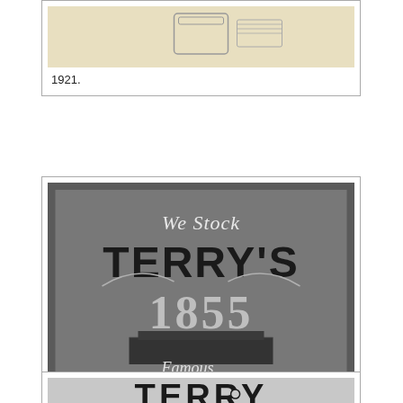[Figure (photo): Partially visible historical advertisement image from 1921, showing what appears to be a container or tin product on a cream/beige background]
1921.
[Figure (photo): Black and white historical advertisement for Terry's chocolates, February 1922. Text reads: 'We Stock TERRY'S 1855 Famous Specialities Made in England' with an illustration of a building.]
February 1922.
[Figure (photo): Partially visible historical Terry's advertisement, showing large bold text 'TERRY' at the bottom of the page]